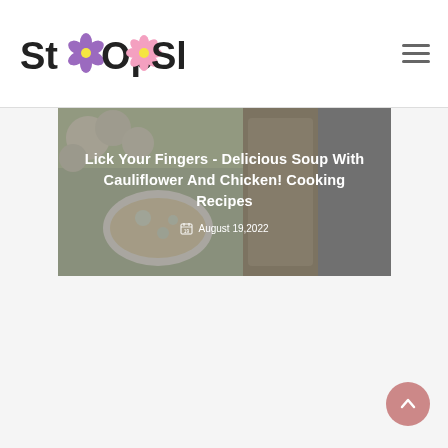StOOpSbs
[Figure (photo): Food photography showing cauliflower soup in a bowl with cauliflower florets and bread in background, with semi-transparent gray overlay containing article title and date]
Lick Your Fingers - Delicious Soup With Cauliflower And Chicken! Cooking Recipes
August 19,2022